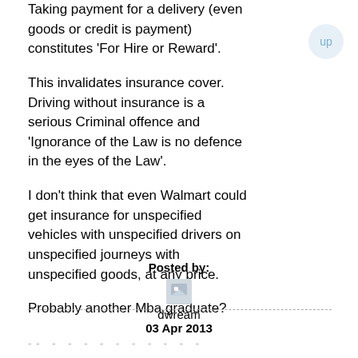Taking payment for a delivery (even goods or credit is payment) constitutes 'For Hire or Reward'.
This invalidates insurance cover. Driving without insurance is a serious Criminal offence and 'Ignorance of the Law is no defence in the eyes of the Law'.
I don't think that even Walmart could get insurance for unspecified vehicles with unspecified drivers on unspecified journeys with unspecified goods, at any price.
Probably another Mba graduate?
Posted by:
[Figure (illustration): Small avatar icon placeholder image]
dwream
03 Apr 2013